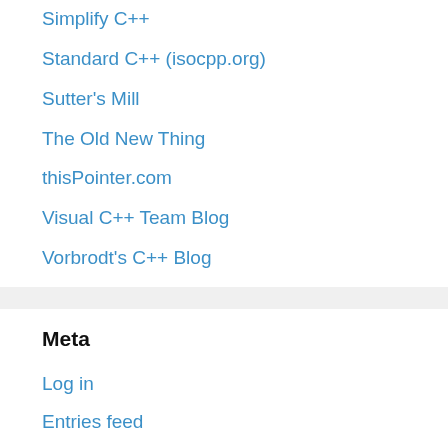Simplify C++
Standard C++ (isocpp.org)
Sutter's Mill
The Old New Thing
thisPointer.com
Visual C++ Team Blog
Vorbrodt's C++ Blog
Meta
Log in
Entries feed
Comments feed